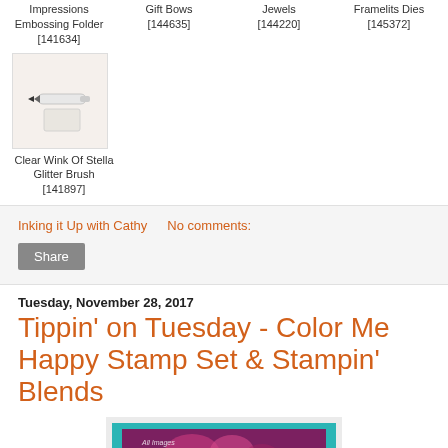Impressions Embossing Folder [141634]
Gift Bows [144635]
Jewels [144220]
Framelits Dies [145372]
[Figure (photo): Clear Wink Of Stella Glitter Brush product photo]
Clear Wink Of Stella Glitter Brush [141897]
Inking it Up with Cathy   No comments:
Share
Tuesday, November 28, 2017
Tippin' on Tuesday - Color Me Happy Stamp Set & Stampin' Blends
[Figure (photo): Partial preview of a stamped card with teal/turquoise border and purple/pink floral image]